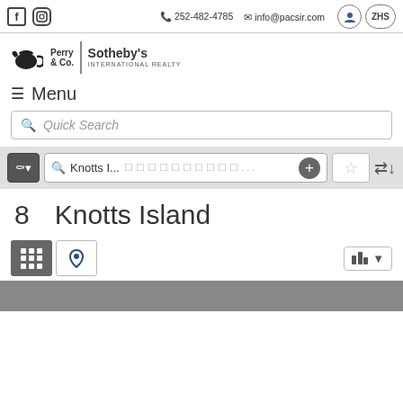252-482-4785  info@pacsir.com
[Figure (logo): Perry & Co. Sotheby's International Realty logo with teapot icon]
≡ Menu
Quick Search
Knotts I...
8    Knotts Island
[Figure (screenshot): Grid and map view toggle buttons and sort dropdown]